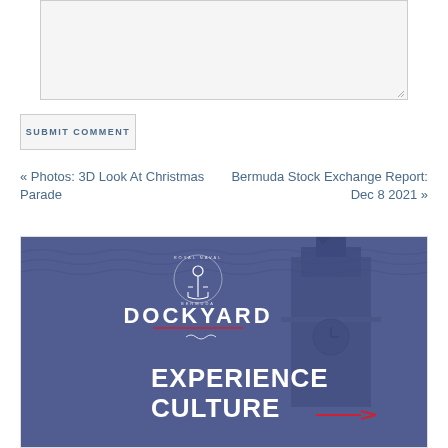[Figure (screenshot): Empty text area input box with resize handle at bottom right corner]
SUBMIT COMMENT
« Photos: 3D Look At Christmas Parade
Bermuda Stock Exchange Report: Dec 8 2021 »
[Figure (photo): Royal Naval Dockyard Bermuda advertisement banner with dark blue overlay on a photo of clock tower building. White text reads DOCKYARD BERMUDA with anchor logo at top and EXPERIENCE CULTURE in large text at bottom. Red decorative lines accent the design.]